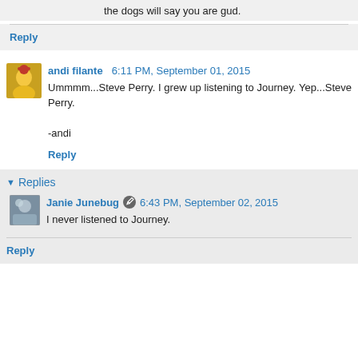the dogs will say you are gud.
Reply
andi filante  6:11 PM, September 01, 2015
Ummmm...Steve Perry. I grew up listening to Journey. Yep...Steve Perry.

-andi
Reply
Replies
Janie Junebug  6:43 PM, September 02, 2015
I never listened to Journey.
Reply